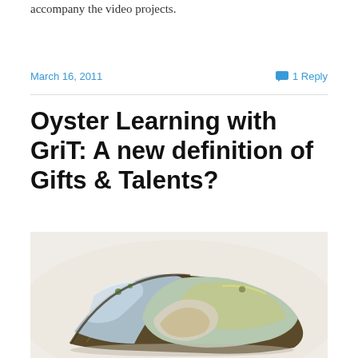accompany the video projects.
March 16, 2011
1 Reply
Oyster Learning with GriT: A new definition of Gifts & Talents?
[Figure (photo): An open oyster shell showing the iridescent mother-of-pearl interior, photographed on a white surface.]